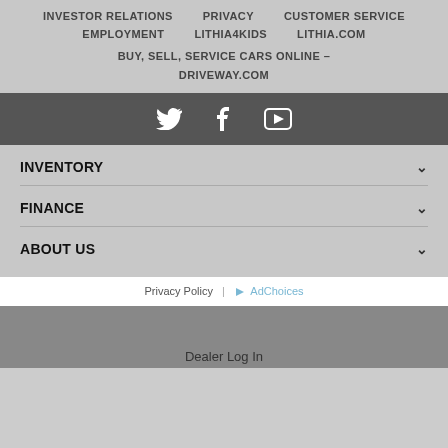INVESTOR RELATIONS
PRIVACY
CUSTOMER SERVICE
EMPLOYMENT
LITHIA4KIDS
LITHIA.COM
BUY, SELL, SERVICE CARS ONLINE – DRIVEWAY.COM
[Figure (other): Social media icons row: Twitter bird icon, Facebook f icon, YouTube play button icon on dark gray background]
INVENTORY
FINANCE
ABOUT US
Privacy Policy | AdChoices
Dealer Log In